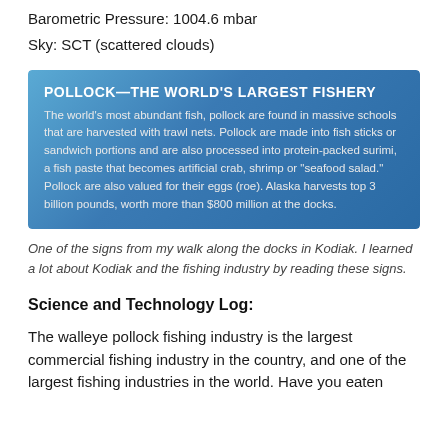Barometric Pressure: 1004.6 mbar
Sky: SCT (scattered clouds)
[Figure (photo): A blue informational sign about Pollock—The World's Largest Fishery. The sign explains that pollock are the world's most abundant fish found in massive schools harvested with trawl nets, made into fish sticks or sandwich portions, processed into protein-packed surimi (artificial crab, shrimp or seafood salad), and valued for their eggs (roe). Alaska harvests top 3 billion pounds, worth more than $800 million at the docks.]
One of the signs from my walk along the docks in Kodiak. I learned a lot about Kodiak and the fishing industry by reading these signs.
Science and Technology Log:
The walleye pollock fishing industry is the largest commercial fishing industry in the country, and one of the largest fishing industries in the world. Have you eaten